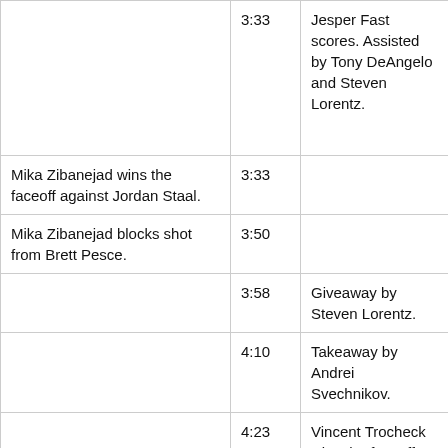| NYR | Time | CAR |
| --- | --- | --- |
|  | 3:33 | Jesper Fast scores. Assisted by Tony DeAngelo and Steven Lorentz. |
| Mika Zibanejad wins the faceoff against Jordan Staal. | 3:33 |  |
| Mika Zibanejad blocks shot from Brett Pesce. | 3:50 |  |
|  | 3:58 | Giveaway by Steven Lorentz. |
|  | 4:10 | Takeaway by Andrei Svechnikov. |
|  | 4:23 | Vincent Trocheck wins the faceoff against Ryan Strome. |
|  | 4:24 | Giveaway by Tony DeAngelo. |
| Dryden Hunt hits Tony DeAngelo. | 4:28 |  |
| Ryan Strome wins the… |  |  |